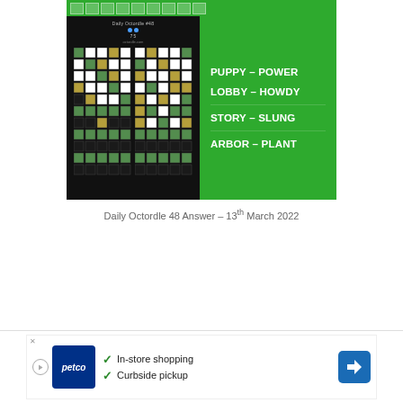[Figure (screenshot): Daily Octordle 48 game screenshot showing word puzzle grids on dark background left side and green panel on right with answers: PUPPY-POWER, LOBBY-HOWDY, STORY-SLUNG, ARBOR-PLANT]
Daily Octordle 48 Answer – 13th March 2022
[Figure (screenshot): Petco advertisement banner: In-store shopping, Curbside pickup with Petco logo and navigation icon]